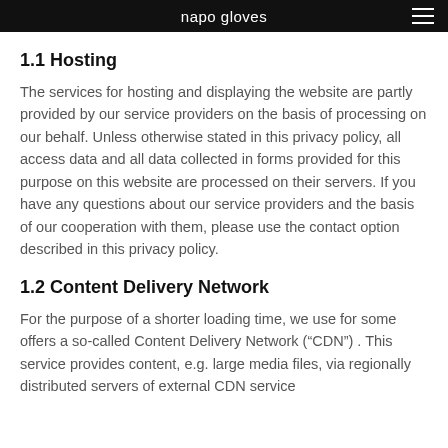napo gloves
1.1 Hosting
The services for hosting and displaying the website are partly provided by our service providers on the basis of processing on our behalf. Unless otherwise stated in this privacy policy, all access data and all data collected in forms provided for this purpose on this website are processed on their servers. If you have any questions about our service providers and the basis of our cooperation with them, please use the contact option described in this privacy policy.
1.2 Content Delivery Network
For the purpose of a shorter loading time, we use for some offers a so-called Content Delivery Network (“CDN”) . This service provides content, e.g. large media files, via regionally distributed servers of external CDN service